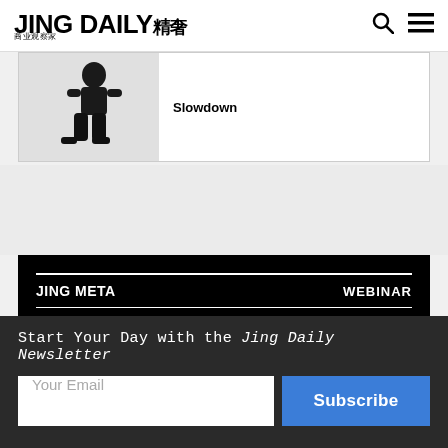JING DAILY 精奢
[Figure (photo): Article card with a photo of a person in black outfit sitting/posing on white background, and text 'Slowdown']
Slowdown
[Figure (infographic): Jing Meta Webinar banner on black background with white text: JING META | WEBINAR | CREATING LUXURY IN THE METAVERSE]
Start Your Day with the Jing Daily Newsletter
Your Email
Subscribe